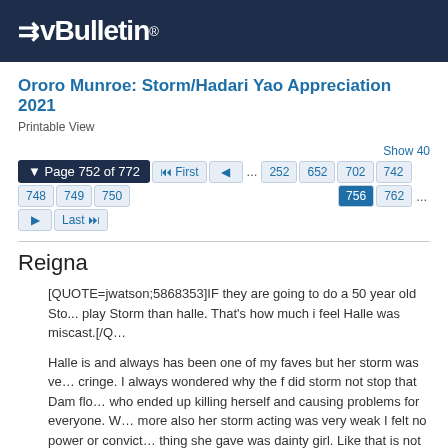vBulletin®
Ororo Munroe: Storm/Hadari Yao Appreciation 2021
Printable View
Show 40
Page 752 of 772  First  ...  252  652  702  742  748  749  750  756  762 ...  Last
Reigna
[QUOTE=jwatson;5868353]IF they are going to do a 50 year old Storm i would pick better person to play Storm than halle. That's how much i feel Halle was miscast.[/QUOTE]

Halle is and always has been one of my faves but her storm was very cringe. I always wondered why the f did storm not stop that Dam flood woman who ended up killing herself and causing problems for everyone. What's more also her storm acting was very weak I felt no power or conviction the only thing she gave was dainty girl. Like that is not storm.
jwatson